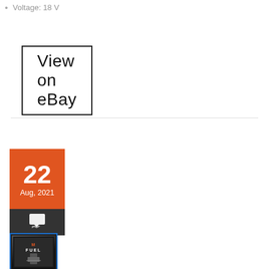Voltage: 18 V
View on eBay
[Figure (other): Date badge card showing 22 Aug, 2021 with orange top section and dark bottom section with chat bubble icon]
[Figure (photo): Product thumbnail image with blue border showing M FUEL branded tool/product on dark background]